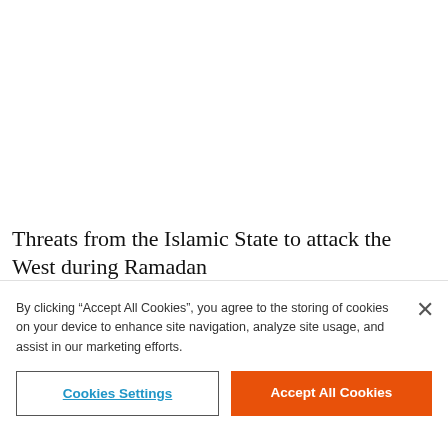Threats from the Islamic State to attack the West during Ramadan
By clicking “Accept All Cookies”, you agree to the storing of cookies on your device to enhance site navigation, analyze site usage, and assist in our marketing efforts.
Cookies Settings
Accept All Cookies